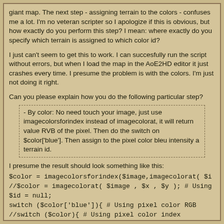giant map. The next step - assigning terrain to the colors - confuses me a lot. I'm no veteran scripter so I apologize if this is obvious, but how exactly do you perform this step? I mean: where exactly do you specify which terrain is assigned to which color id?
I just can't seem to get this to work. I can succesfully run the script without errors, but when I load the map in the AoE2HD editor it just crashes every time. I presume the problem is with the colors. I'm just not doing it right.
Can you please explain how you do the following particular step?
- By color: No need touch your image, just use imagecolorsforindex instead of imagecolorat, it will return value RVB of the pixel. Then do the switch on $color['blue']. Then assign to the pixel color bleu intensity a terrain id.
I presume the result should look something like this:
$color = imagecolorsforindex($image,imagecolorat( $i
//$color = imagecolorat( $image , $x , $y ); # Using
$id = null;
switch ($color['blue']){ # Using pixel color RGB
//switch ($color){ # Using pixel color index
case 0: $id = 12; break;
case 1: $id = 3; break;
case 2: $id = 41; break;
case 3: $id = 12; break;